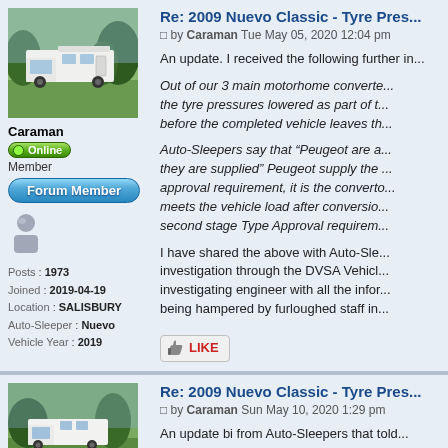[Figure (photo): Photo of a white motorhome/campervan parked on grass with trees in background]
Caraman
Online
Member
Forum Member
[Figure (illustration): User avatar icon - generic person silhouette]
Posts : 1973
Joined : 2019-04-19
Location : SALISBURY
Auto-Sleeper : Nuevo
Vehicle Year : 2019
Re: 2009 Nuevo Classic - Tyre Pres...
by Caraman Tue May 05, 2020 12:04 pm
An update.  I received the following further in...
Out of our 3 main motorhome converte... the tyre pressures lowered as part of t... before the completed vehicle leaves th...
Auto-Sleepers say that “Peugeot are a... they are supplied” Peugeot supply the ... approval requirement, it is the converto... meets the vehicle load after conversio... second stage Type Approval requirem...
I have shared the above with Auto-Sle... investigation through the DVSA Vehicl... investigating engineer with all the infor... being hampered by furloughed staff in...
[Figure (illustration): LIKE button with thumbs up icon]
Re: 2009 Nuevo Classic - Tyre Pres...
by Caraman Sun May 10, 2020 1:29 pm
[Figure (photo): Photo of a white motorhome parked outdoors]